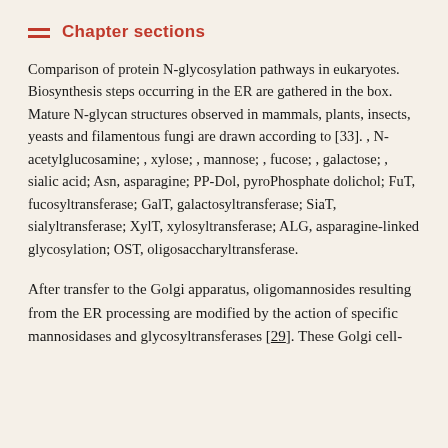Chapter sections
Comparison of protein N-glycosylation pathways in eukaryotes. Biosynthesis steps occurring in the ER are gathered in the box. Mature N-glycan structures observed in mammals, plants, insects, yeasts and filamentous fungi are drawn according to [33]. , N-acetylglucosamine; , xylose; , mannose; , fucose; , galactose; , sialic acid; Asn, asparagine; PP-Dol, pyroPhosphate dolichol; FuT, fucosyltransferase; GalT, galactosyltransferase; SiaT, sialyltransferase; XylT, xylosyltransferase; ALG, asparagine-linked glycosylation; OST, oligosaccharyltransferase.
After transfer to the Golgi apparatus, oligomannosides resulting from the ER processing are modified by the action of specific mannosidases and glycosyltransferases [29]. These Golgi cell-